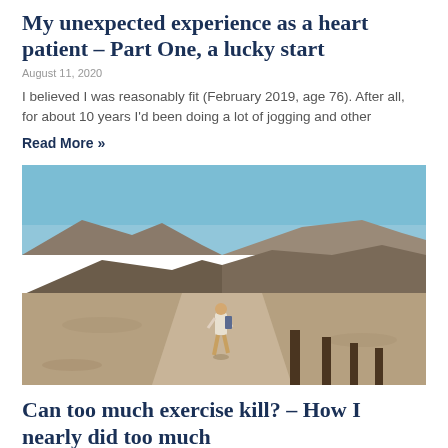My unexpected experience as a heart patient – Part One, a lucky start
August 11, 2020
I believed I was reasonably fit (February 2019, age 76). After all, for about 10 years I'd been doing a lot of jogging and other
Read More »
[Figure (photo): A person walking on a dirt path through an arid rocky desert landscape under a blue sky, with wooden posts in the foreground on the right.]
Can too much exercise kill? – How I nearly did too much